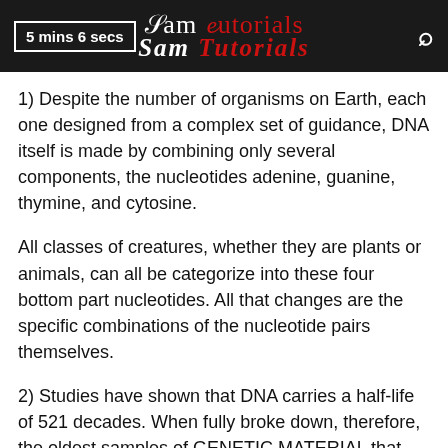5 mins 6 secs  Sam Tutorials
1) Despite the number of organisms on Earth, each one designed from a complex set of guidance, DNA itself is made by combining only several components, the nucleotides adenine, guanine, thymine, and cytosine.
All classes of creatures, whether they are plants or animals, can all be categorize into these four bottom part nucleotides. All that changes are the specific combinations of the nucleotide pairs themselves.
2) Studies have shown that DNA carries a half-life of 521 decades. When fully broke down, therefore, the oldest samples of GENETIC MATERIAL that cab viably clone straight into new, living organisms have a natural limit of 2,000,000...